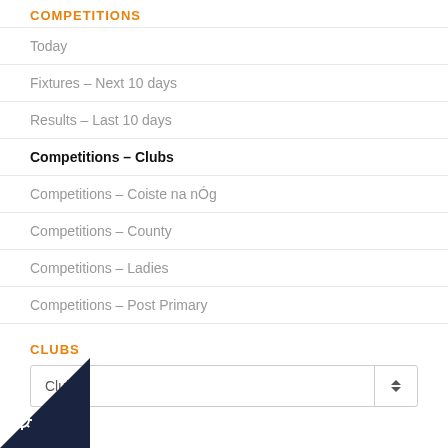COMPETITIONS
Today
Fixtures – Next 10 days
Results – Last 10 days
Competitions – Clubs
Competitions – Coiste na nÓg
Competitions – County
Competitions – Ladies
Competitions – Post Primary
CLUBS
Clubs